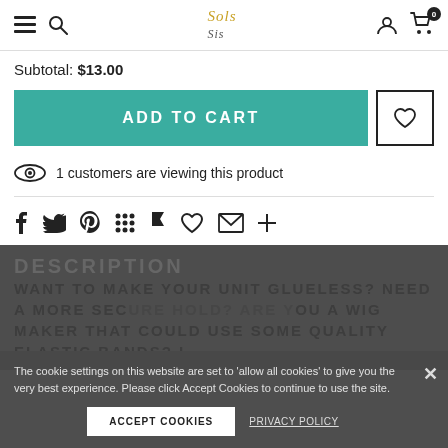Navigation bar with menu, search, logo (Sols Sis), user account, and cart (0 items)
Subtotal: $13.00
ADD TO CART
1 customers are viewing this product
[Figure (other): Social share icons: Facebook, Twitter, Pinterest, Grid, Flag, Heart, Email, Plus]
DESCRIPTION
WANT TO MAKE YOUR UNIT GLUELESS? NEED A MORE SECURE HOLD? ARE YOU A WIG MAKER THAT COULD USE SOME QUALITY ELASTIC BANDS? I
The cookie settings on this website are set to 'allow all cookies' to give you the very best experience. Please click Accept Cookies to continue to use the site.
ACCEPT COOKIES   PRIVACY POLICY